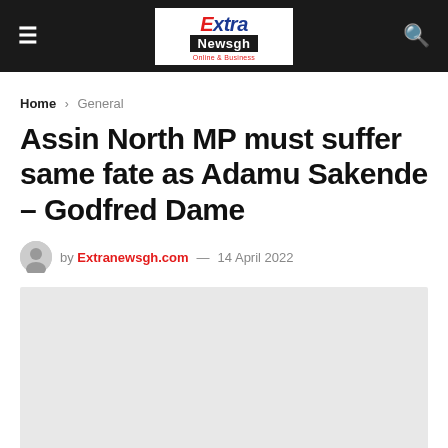Extra Newsgh — Online & Business
Home > General
Assin North MP must suffer same fate as Adamu Sakende – Godfred Dame
by Extranewsgh.com — 14 April 2022
[Figure (photo): Article featured image placeholder (light grey box)]